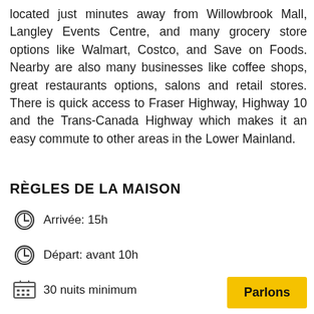located just minutes away from Willowbrook Mall, Langley Events Centre, and many grocery store options like Walmart, Costco, and Save on Foods. Nearby are also many businesses like coffee shops, great restaurants options, salons and retail stores. There is quick access to Fraser Highway, Highway 10 and the Trans-Canada Highway which makes it an easy commute to other areas in the Lower Mainland.
RÈGLES DE LA MAISON
Arrivée: 15h
Départ: avant 10h
30 nuits minimum
Interdiction de fumer
Parlons